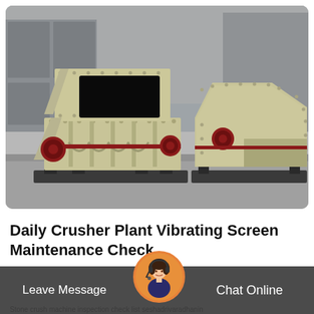[Figure (photo): Two large yellow/beige industrial impact crusher machines parked on a concrete floor in front of a grey metal warehouse building. The machines have bolted metal plates, red circular belt guards, and open intake chutes at the top.]
Daily Crusher Plant Vibrating Screen Maintenance Check
Stone crush machine inspection check list seshadrivaradhanin